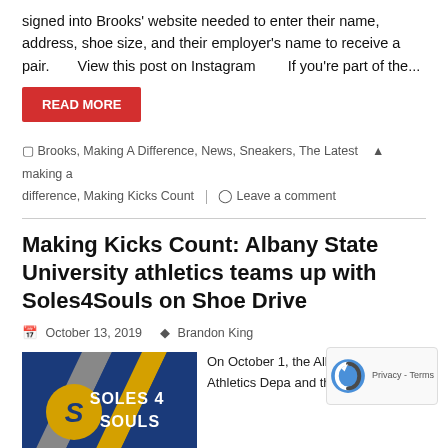signed into Brooks' website needed to enter their name, address, shoe size, and their employer's name to receive a pair.      View this post on Instagram      If you're part of the…
READ MORE
Brooks, Making A Difference, News, Sneakers, The Latest   making a difference, Making Kicks Count  |  Leave a comment
Making Kicks Count: Albany State University athletics teams up with Soles4Souls on Shoe Drive
October 13, 2019   Brandon King
[Figure (photo): Soles 4 Souls promotional graphic with Albany State University athletics branding, showing blue/gold/grey diagonal stripes and the Soles 4 Souls logo]
On October 1, the Albany State U Athletics Depa and the Student-